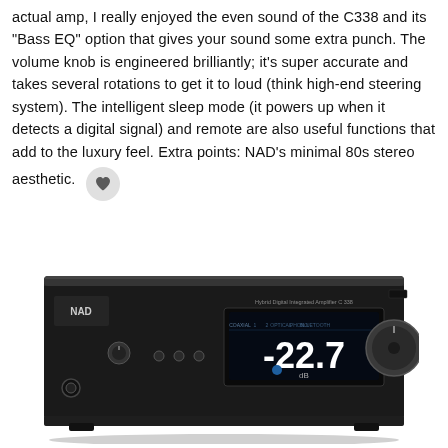actual amp, I really enjoyed the even sound of the C338 and its "Bass EQ" option that gives your sound some extra punch. The volume knob is engineered brilliantly; it's super accurate and takes several rotations to get it to loud (think high-end steering system). The intelligent sleep mode (it powers up when it detects a digital signal) and remote are also useful functions that add to the luxury feel. Extra points: NAD's minimal 80s stereo aesthetic.
[Figure (photo): NAD C338 integrated amplifier, front view, black finish with display showing -22.7 dB]